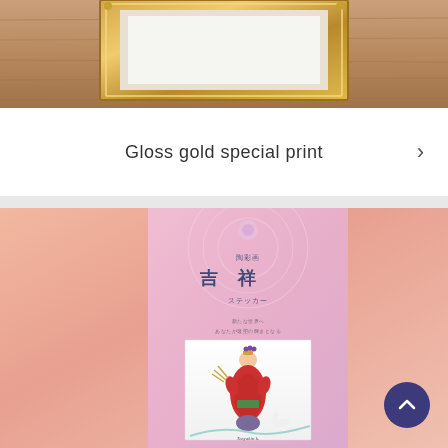[Figure (photo): Top portion showing a golden ornate picture frame on a wooden surface background]
Gloss gold special print
[Figure (photo): Japanese product image showing a Tosai-ga Kisshō sticker package with a painted figure of a woman in traditional red robes holding wheat, on a pink/peach gradient background with decorative patterns. Text reads 陶彩画 吉祥 ステッカー]